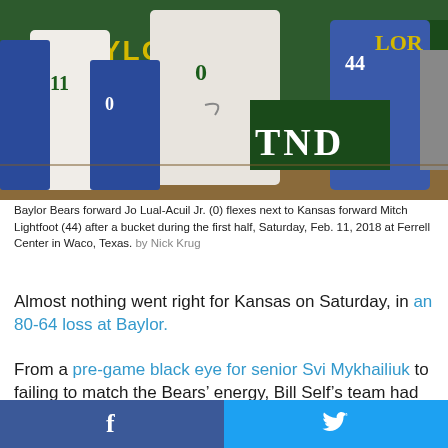[Figure (photo): Basketball game photo showing Baylor Bears players in white uniforms and Kansas players in blue uniforms on the court. A player with #11 Baylor jersey is visible on the left, a player in white with #0 in the center, and a player in blue #44 on the right. Green Baylor arena signage is visible in the background.]
Baylor Bears forward Jo Lual-Acuil Jr. (0) flexes next to Kansas forward Mitch Lightfoot (44) after a bucket during the first half, Saturday, Feb. 11, 2018 at Ferrell Center in Waco, Texas. by Nick Krug
Almost nothing went right for Kansas on Saturday, in an 80-64 loss at Baylor.
From a pre-game black eye for senior Svi Mykhailiuk to failing to match the Bears' energy, Bill Self’s team had far more problems than solutions during its trip to Waco, Texas.
And a 40 percent shooting performance for the offense was